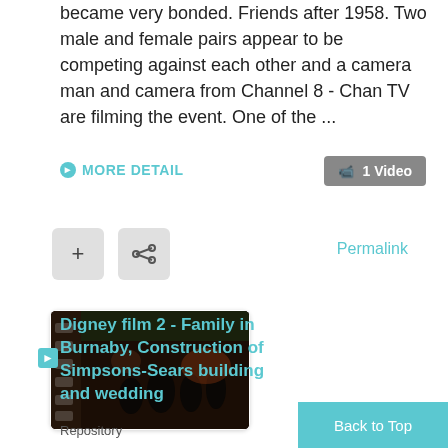became very bonded. Friends after 1958. Two male and female pairs appear to be competing against each other and a camera man and camera from Channel 8 - Chan TV are filming the event. One of the ...
MORE DETAIL
1 Video
[Figure (screenshot): Two buttons: a plus (+) icon button and a share icon button, both with light grey background]
Permalink
[Figure (photo): Dark video thumbnail showing people in a dimly lit indoor scene]
Digney film 2 - Family in Burnaby, Construction of Simpsons-Sears building and wedding
Repository
Back to Top